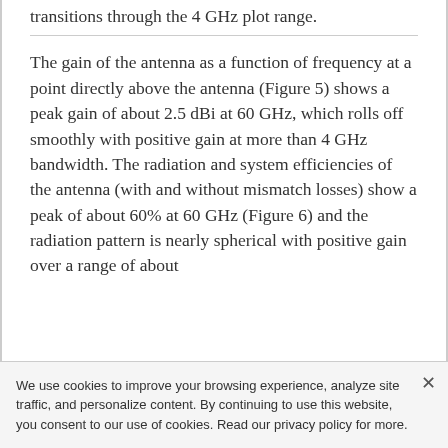transitions through the 4 GHz plot range.
The gain of the antenna as a function of frequency at a point directly above the antenna (Figure 5) shows a peak gain of about 2.5 dBi at 60 GHz, which rolls off smoothly with positive gain at more than 4 GHz bandwidth. The radiation and system efficiencies of the antenna (with and without mismatch losses) show a peak of about 60% at 60 GHz (Figure 6) and the radiation pattern is nearly spherical with positive gain over a range of about
We use cookies to improve your browsing experience, analyze site traffic, and personalize content. By continuing to use this website, you consent to our use of cookies. Read our privacy policy for more.